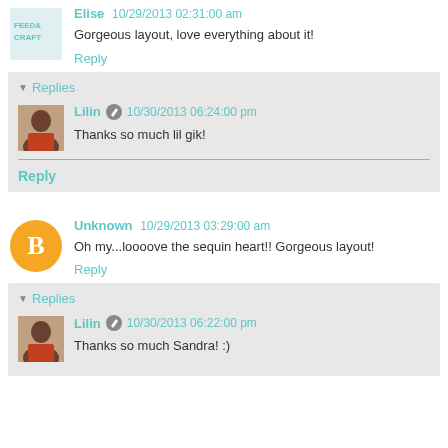Elise 10/29/2013 02:31:00 am
Gorgeous layout, love everything about it!
Reply
Replies
Lilin 10/30/2013 06:24:00 pm
Thanks so much lil gik!
Reply
Unknown 10/29/2013 03:29:00 am
Oh my...loooove the sequin heart!! Gorgeous layout!
Reply
Replies
Lilin 10/30/2013 06:22:00 pm
Thanks so much Sandra! :)